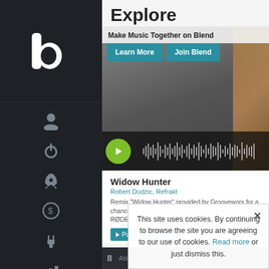[Figure (screenshot): Sidebar navigation with logo 'b' icon and navigation icons (user, power, rocket, dollar circle, plug, bar chart) on dark background]
Explore
Make Music Together on Blend
[Figure (photo): Banner with 'Learn More' and 'Join Blend' teal buttons over a blurred background with waveform and play button]
Widow Hunter
Robert Dudzic, Refrakt
Remix "Widow Hunter" provided by Grooveworx for a chance to win from TASCAM, PSPAudioware, ROLI & RØDE. These stems are
Widow Hunter
Robert Dudzic,
Remix "Widow Hunter" provided by Grooveworx for a chance to win from TASCAM, P… ROLI & RØDE. T
This site uses cookies. By continuing to browse the site you are agreeing to our use of cookies. Read more or just dismiss this.